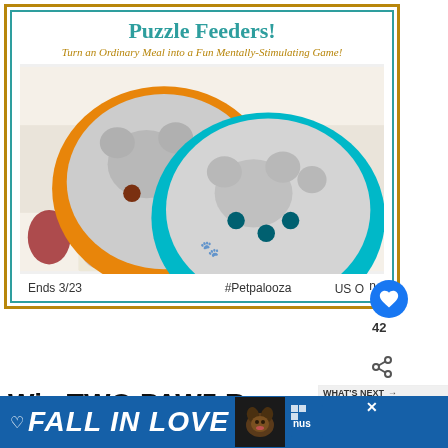Puzzle Feeders!
Turn an Ordinary Meal into a Fun Mentally-Stimulating Game!
[Figure (photo): Two puzzle feeder bowls — one orange and one teal — each with a paw-print shaped insert, placed on a colorful dog-print fabric. A blue circular like button with heart icon and count of 42 is visible.]
Ends 3/23   #Petpalooza   US On
Win TWO PAW5 Rock 'N Bowl Puzzle Feeders!
WHAT'S NEXT → #Win a PAW5 Rock 'N Bo...
FALL IN LOVE